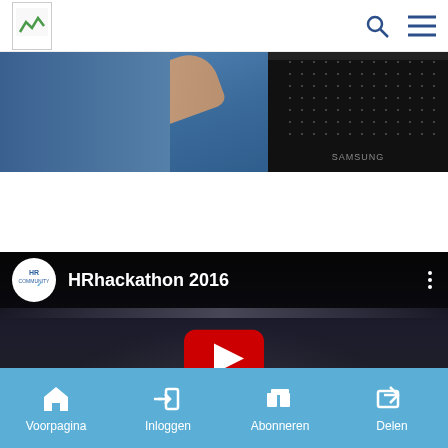HR Community website header with logo, search icon, and menu icon
[Figure (photo): Person in blue shirt with orange lanyard gesturing near a screen displaying a dotted/tiled pattern]
[Figure (screenshot): YouTube video thumbnail for HRhackathon 2016 with HR Community logo, video title, three-dot menu, and YouTube play button over a dark crowd scene]
Voorpagina  Inloggen  Abonneren  Delen